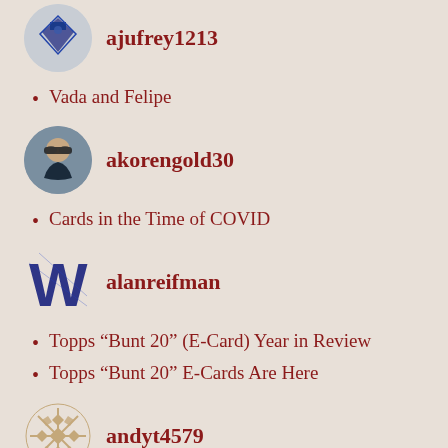[Figure (illustration): Avatar icon for ajufrey1213 - blue diamond/heart shape with dark blue squares pattern]
ajufrey1213
Vada and Felipe
[Figure (photo): Avatar photo for akorengold30 - person wearing sunglasses, circular crop]
akorengold30
Cards in the Time of COVID
[Figure (illustration): Avatar icon for alanreifman - blue patterned W letter logo]
alanreifman
Topps “Bunt 20” (E-Card) Year in Review
Topps “Bunt 20” E-Cards Are Here
[Figure (illustration): Avatar icon for andyt4579 - golden/tan geometric snowflake/mandala pattern, circular]
andyt4579
Spontaneous regeneration